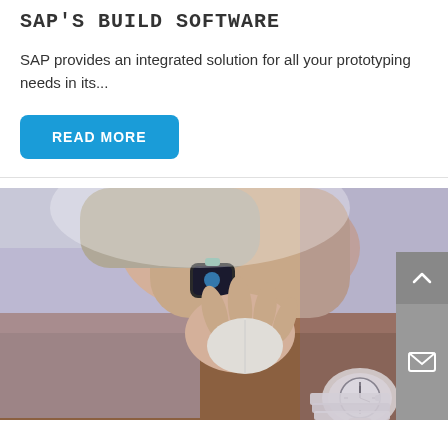SAP'S BUILD SOFTWARE
SAP provides an integrated solution for all your prototyping needs in its...
READ MORE
[Figure (photo): Close-up photo of a person's hand on a computer mouse, wearing both a smartwatch and an analog wristwatch, resting on a desk surface.]